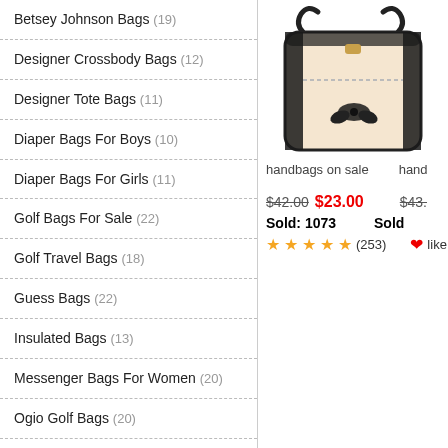Betsey Johnson Bags (19)
Designer Crossbody Bags (12)
Designer Tote Bags (11)
Diaper Bags For Boys (10)
Diaper Bags For Girls (11)
Golf Bags For Sale (22)
Golf Travel Bags (18)
Guess Bags (22)
Insulated Bags (13)
Messenger Bags For Women (20)
Ogio Golf Bags (20)
Ping Golf Bags (29)
Reusable Bags (6)
Vera Bradley Bags (23)
Work Bags For Women (14)
Bags (29)
[Figure (photo): Cream/beige handbag with black handles and bow decoration]
handbags on sale
$42.00 $23.00 | $43. | Sold: 1073 | Sold | ★★★★★(253) | ❤like ★★
Displaying 1 to 16 (of 16 products)